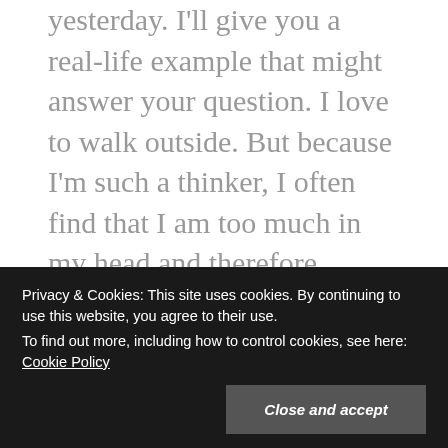yesterday. I'll give you a real-life example that might answer your question. I love to walk outside. But because I'm such a thinker, I often find that I am too much in my head and therefore totally missing the beauty around me. When I find myself thinking while I should be simply soaking things in and being in the moment, I literally say this to myself, "Troy, get out of your head! You are missing all this wonderful beauty and experience." This usually helps me reprioritize and disengage my mind. I
Privacy & Cookies: This site uses cookies. By continuing to use this website, you agree to their use.
To find out more, including how to control cookies, see here: Cookie Policy
Close and accept